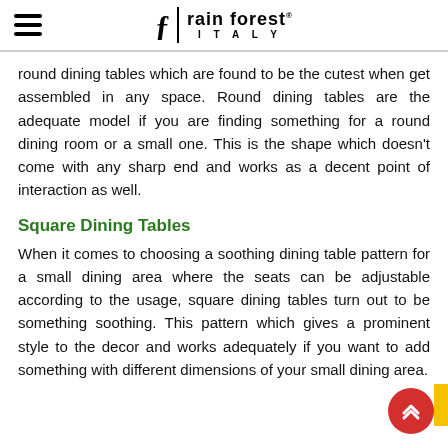rain forest ITALY
round dining tables which are found to be the cutest when get assembled in any space. Round dining tables are the adequate model if you are finding something for a round dining room or a small one. This is the shape which doesn't come with any sharp end and works as a decent point of interaction as well.
Square Dining Tables
When it comes to choosing a soothing dining table pattern for a small dining area where the seats can be adjustable according to the usage, square dining tables turn out to be something soothing. This pattern which gives a prominent style to the decor and works adequately if you want to add something with different dimensions of your small dining area.